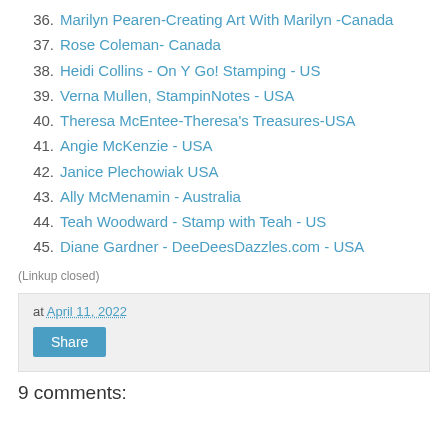36. Marilyn Pearen-Creating Art With Marilyn -Canada
37. Rose Coleman- Canada
38. Heidi Collins - On Y Go! Stamping - US
39. Verna Mullen, StampinNotes - USA
40. Theresa McEntee-Theresa's Treasures-USA
41. Angie McKenzie - USA
42. Janice Plechowiak USA
43. Ally McMenamin - Australia
44. Teah Woodward - Stamp with Teah - US
45. Diane Gardner - DeeDeesDazzles.com - USA
(Linkup closed)
at April 11, 2022
Share
9 comments: